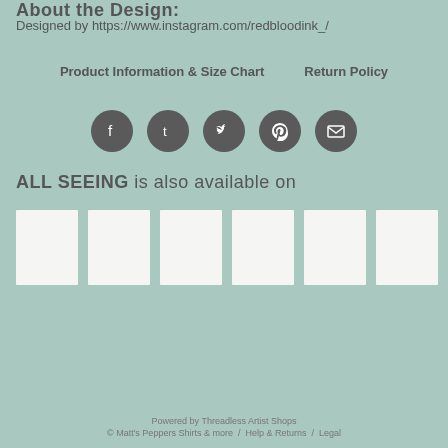About the Design:
Designed by https://www.instagram.com/redbloodink_/
Product Information & Size Chart    Return Policy
[Figure (infographic): Row of 5 dark circular social media icons: Facebook, Tumblr, Twitter, Pinterest, Email]
ALL SEEING is also available on
[Figure (infographic): Row of 6 white/light product thumbnail squares]
Powered by Threadless Artist Shops
© Matt's Peppers Shirts & more  /  Help & Returns  /  Legal